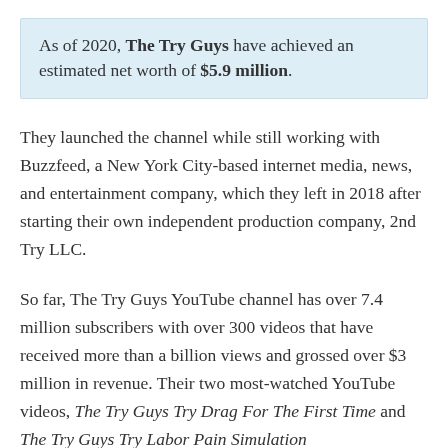As of 2020, The Try Guys have achieved an estimated net worth of $5.9 million.
They launched the channel while still working with Buzzfeed, a New York City-based internet media, news, and entertainment company, which they left in 2018 after starting their own independent production company, 2nd Try LLC.
So far, The Try Guys YouTube channel has over 7.4 million subscribers with over 300 videos that have received more than a billion views and grossed over $3 million in revenue. Their two most-watched YouTube videos, The Try Guys Try Drag For The First Time and The Try Guys Try Labor Pain Simulation